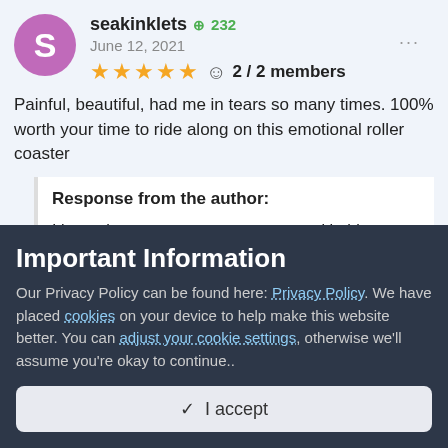seakinklets +232 June 12, 2021 ★★★★★ 2 / 2 members
Painful, beautiful, had me in tears so many times. 100% worth your time to ride along on this emotional roller coaster
Response from the author:
I love when someone new connects with this story. It was a tough story to write at times so it's very
Important Information
Our Privacy Policy can be found here: Privacy Policy. We have placed cookies on your device to help make this website better. You can adjust your cookie settings, otherwise we'll assume you're okay to continue..
✓  I accept